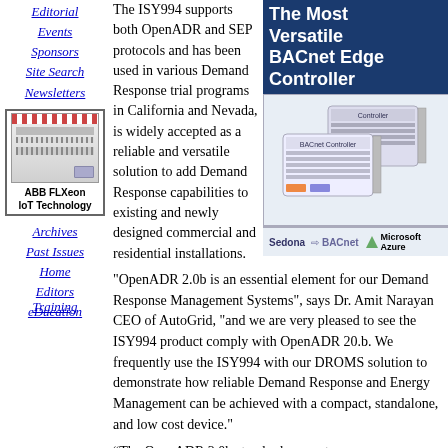Editorial
Events
Sponsors
Site Search
Newsletters
[Figure (photo): ABB FLXeon IoT Technology device photo in a bordered box]
Archives
Past Issues
Home
Editors
eDucation
Training
The ISY994 supports both OpenADR and SEP protocols and has been used in various Demand Response trial programs in California and Nevada, is widely accepted as a reliable and versatile solution to add Demand Response capabilities to existing and newly designed commercial and residential installations.
[Figure (illustration): Advertisement for The Most Versatile BACnet Edge Controller showing two hardware devices with Sedona, BACnet, and Microsoft Azure logos]
"OpenADR 2.0b is an essential element for our Demand Response Management Systems", says Dr. Amit Narayan CEO of AutoGrid, "and we are very pleased to see the ISY994 product comply with OpenADR 20.b. We frequently use the ISY994 with our DROMS solution to demonstrate how reliable Demand Response and Energy Management can be achieved with a compact, standalone, and low cost device."
“The OpenADR 2.0b standard supports a